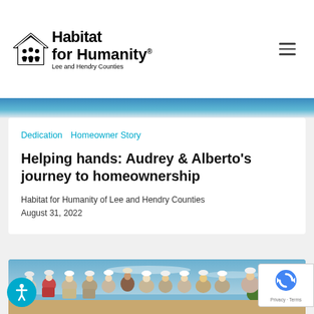[Figure (logo): Habitat for Humanity Lee and Hendry Counties logo with house icon and people silhouettes]
[Figure (photo): Partial photo strip showing people in blue shirts, cropped at top of card]
Dedication   Homeowner Story
Helping hands: Audrey & Alberto's journey to homeownership
Habitat for Humanity of Lee and Hendry Counties
August 31, 2022
[Figure (photo): Group photo of volunteers wearing white hard hats and colorful 'every one' t-shirts standing outdoors under blue sky]